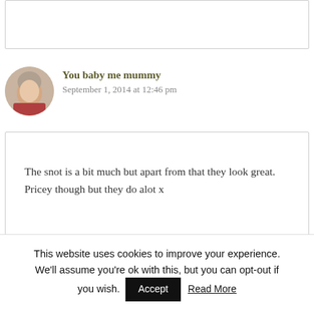[Figure (photo): Partial comment box cropped at top of page]
You baby me mummy
September 1, 2014 at 12:46 pm
The snot is a bit much but apart from that they look great. Pricey though but they do alot x
Reply
This website uses cookies to improve your experience. We'll assume you're ok with this, but you can opt-out if you wish.
Accept
Read More